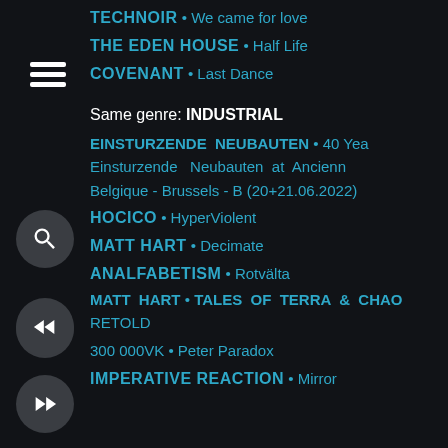TECHNOIR • We came for love
THE EDEN HOUSE • Half Life
COVENANT • Last Dance
Same genre: INDUSTRIAL
EINSTURZENDE NEUBAUTEN • 40 Years Einsturzende Neubauten at Ancienne Belgique - Brussels - B (20+21.06.2022)
HOCICO • HyperViolent
MATT HART • Decimate
ANALFABETISM • Rotvälta
MATT HART • TALES OF TERRA & CHAOS RETOLD
300 000VK • Peter Paradox
IMPERATIVE REACTION • Mirror